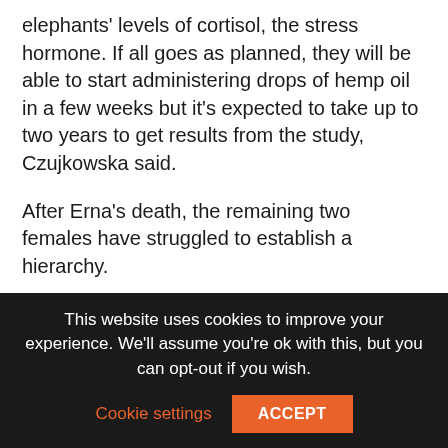elephants' levels of cortisol, the stress hormone. If all goes as planned, they will be able to start administering drops of hemp oil in a few weeks but it's expected to take up to two years to get results from the study, Czujkowska said.
After Erna's death, the remaining two females have struggled to establish a hierarchy.
The 23-year-old Fryderyka, also known as Fredzia, has long tried to control the other female, Buba, also 23, but was kept in check to some degree by Erna, who helped to resolve conflicts.
This website uses cookies to improve your experience. We'll assume you're ok with this, but you can opt-out if you wish.